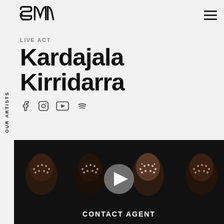SM logo and navigation
OUR ARTISTS
LIVE ACT
Kardajala Kirridarra
[Figure (photo): Four Indigenous women with dot face paint against a dark background, with a video play button overlay]
CONTACT AGENT